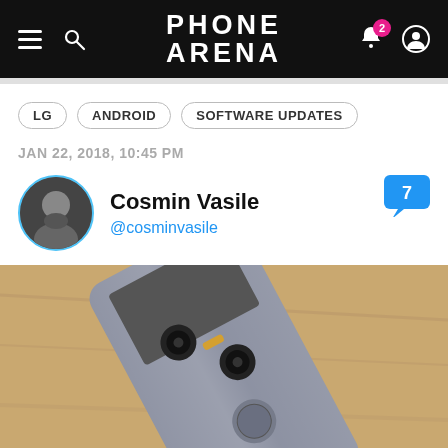PhoneArena
LG
ANDROID
SOFTWARE UPDATES
JAN 22, 2018, 10:45 PM
Cosmin Vasile
@cosminvasile
[Figure (photo): Back of an LG G6 smartphone in silver/gray, showing dual cameras and fingerprint sensor, placed on a wooden surface at an angle]